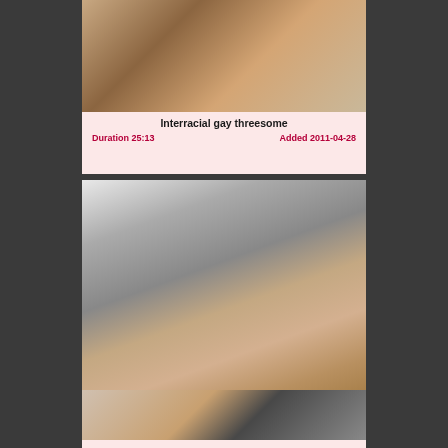[Figure (photo): Thumbnail image for interracial gay threesome video]
Interracial gay threesome
Duration 25:13    Added 2011-04-28
[Figure (photo): Thumbnail image for Toilettes publiques pour mecs sexy video showing men in tiled room]
Toilettes publiques pour mecs sexy
Duration 2:11:54    Added 2014-07-29
[Figure (photo): Partial thumbnail of third video at bottom of page]